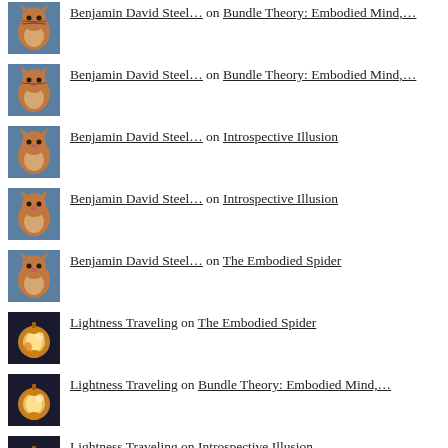Benjamin David Steel… on Bundle Theory: Embodied Mind,…
Benjamin David Steel… on Bundle Theory: Embodied Mind,…
Benjamin David Steel… on Introspective Illusion
Benjamin David Steel… on Introspective Illusion
Benjamin David Steel… on The Embodied Spider
Lightness Traveling on The Embodied Spider
Lightness Traveling on Bundle Theory: Embodied Mind,…
Lightness Traveling on Introspective Illusion